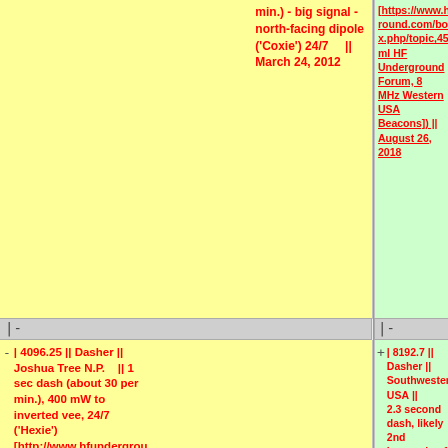| Left column (partial) | Right column (partial) |
| --- | --- |
| min.) - big signal - north-facing dipole ('Coxie') 24/7 || March 24, 2012 | [https://www.hfunderground.com/board/index.php/topic,45438.0.html HF Underground Forum, 8 MHz Western USA Beacons]) || August 26, 2018 |
| |- | |- |
| | 4096.25 || Dasher || Joshua Tree N.P. || 1 sec dash (about 30 per min.), 400 mW to inverted vee, 24/7 ('Hexie') - [http://www.hfunderground.com/board/index.php?topic=6200.0] [http://www.hfunderground.com/board/index.php?topic=6199.0] || April 6, 2013 | | 8192.7 || Dasher || Southwestern USA || 2.3 second dash, likely 2nd harmonic of "Haystack" on 4096.38 kHz (Source: [https://www.hfunderground.com/board/index.php/topic,45438.0.html HF Underground Forum, 8 MHz Western USA Beacons]) || August 26, 2018 |
| |- | |- |
|  | | 8193.7 || Ditter || |